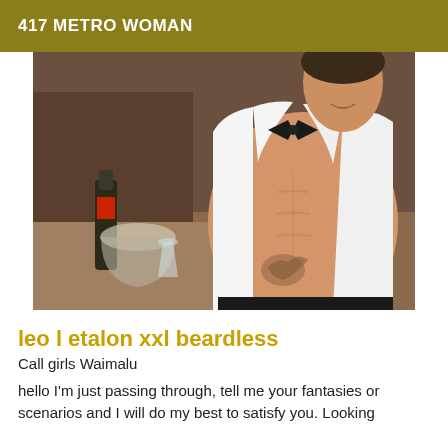417 METRO WOMAN
[Figure (photo): A man in an open white dress shirt with a black bow tie, showing tattooed torso, with a champagne bottle in an ice bucket in the background.]
leo l etalon xxl beardless
Call girls Waimalu
hello I'm just passing through, tell me your fantasies or scenarios and I will do my best to satisfy you. Looking